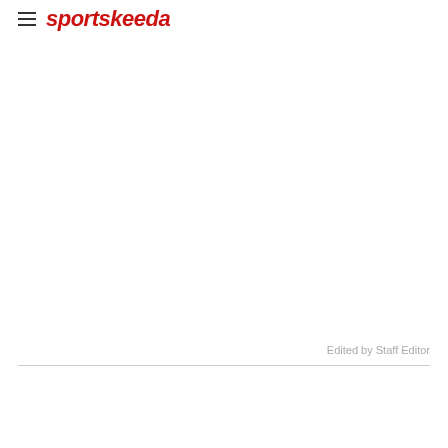sportskeeda
Edited by Staff Editor